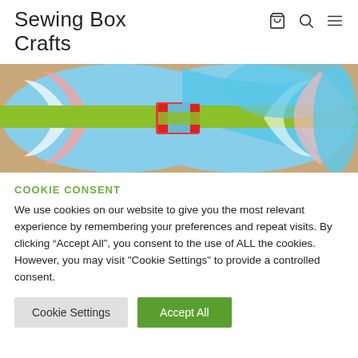Sewing Box Crafts
[Figure (photo): Close-up photo of a colorful fabric bow with stripes in blue, green, red, pink, and white on a brown background]
COOKIE CONSENT
We use cookies on our website to give you the most relevant experience by remembering your preferences and repeat visits. By clicking “Accept All”, you consent to the use of ALL the cookies. However, you may visit "Cookie Settings" to provide a controlled consent.